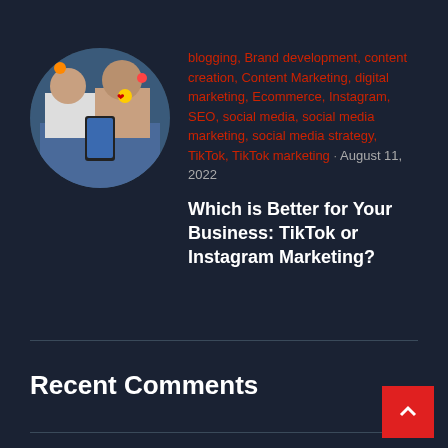[Figure (photo): Circular cropped photo of two people sitting, one holding a smartphone with social media emoji icons floating around it]
blogging, Brand development, content creation, Content Marketing, digital marketing, Ecommerce, Instagram, SEO, social media, social media marketing, social media strategy, TikTok, TikTok marketing · August 11, 2022
Which is Better for Your Business: TikTok or Instagram Marketing?
Recent Comments